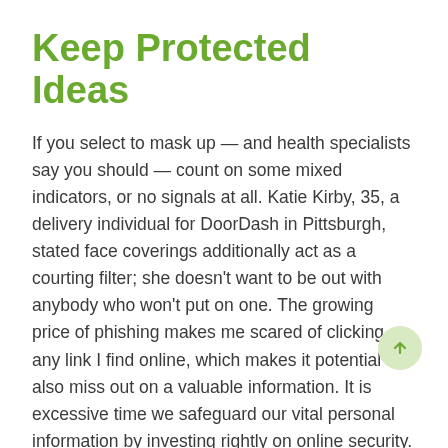Keep Protected Ideas
If you select to mask up — and health specialists say you should — count on some mixed indicators, or no signals at all. Katie Kirby, 35, a delivery individual for DoorDash in Pittsburgh, stated face coverings additionally act as a courting filter; she doesn't want to be out with anybody who won't put on one. The growing price of phishing makes me scared of clicking any link I find online, which makes it potential to also miss out on a valuable information. It is excessive time we safeguard our vital personal information by investing rightly on online security.
As awkward as it's to have these troublesome